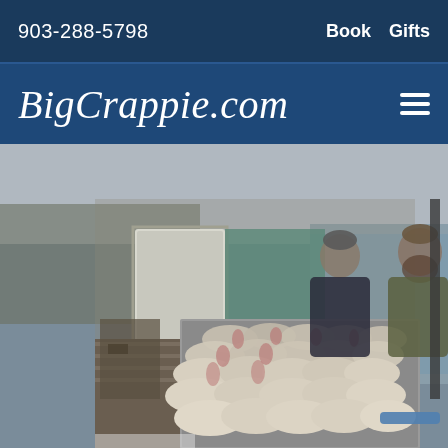903-288-5798   Book   Gifts
BigCrappie.com
[Figure (photo): Two people (a woman and a bearded man in camouflage) standing behind a cleaning table covered with a large catch of crappie fish, at what appears to be a fishing dock or boat slip near a lake. A white door and teal/green wall are visible behind them, along with trees and water in the background.]